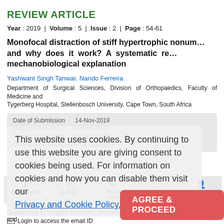REVIEW ARTICLE
Year : 2019 | Volume : 5 | Issue : 2 | Page : 54-61
Monofocal distraction of stiff hypertrophic nonunions: how and why does it work? A systematic review with a mechanobiological explanation
Yashwant Singh Tanwar, Nando Ferreira
Department of Surgical Sciences, Division of Orthopaedics, Faculty of Medicine and Health Sciences, Tygerberg Hospital, Stellenbosch University, Cape Town, South Africa
Date of Submission: 14-Nov-2019
Date of Decision: 25-Nov-2019
Date of Acceptance: 29-Nov-2019
Date of Web Publication: 19-Dec-2019
This website uses cookies. By continuing to use this website you are giving consent to cookies being used. For information on cookies and how you can disable them visit our Privacy and Cookie Policy.
AGREE & PROCEED
Correspondence Address:
Prof. Nando Ferreira
Department of Surgical Sciences, Division of Orthopaedics, Faculty of Medicine and Health Sciences, Tygerberg Hospital, Stellenbosch University, Cape Town 7505
South Africa
Login to access the email ID